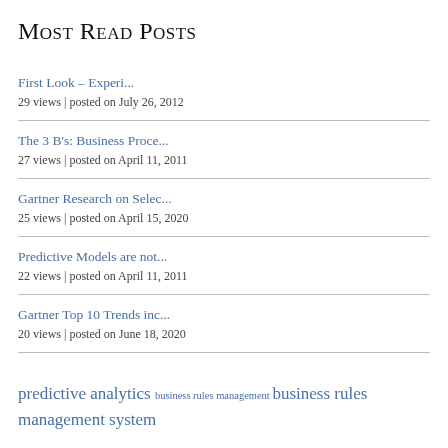Most Read Posts
First Look – Experi...
29 views | posted on July 26, 2012
The 3 B's: Business Proce...
27 views | posted on April 11, 2011
Gartner Research on Selec...
25 views | posted on April 15, 2020
Predictive Models are not...
22 views | posted on April 11, 2011
Gartner Top 10 Trends inc...
20 views | posted on June 18, 2020
predictive analytics business rules management business rules management system